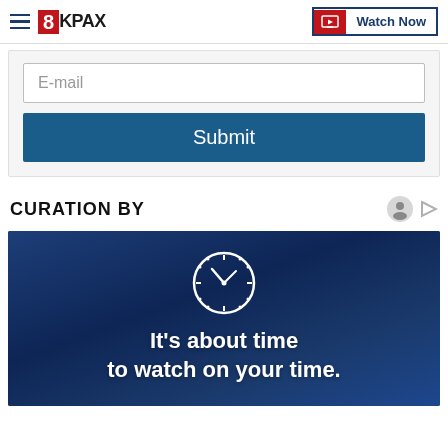8KPAX | Watch Now
[Figure (screenshot): Email input field with placeholder text 'E-mail' and a blue Submit button below]
CURATION BY
[Figure (illustration): Dark blue banner with a clock icon and text: It's about time to watch on your time.]